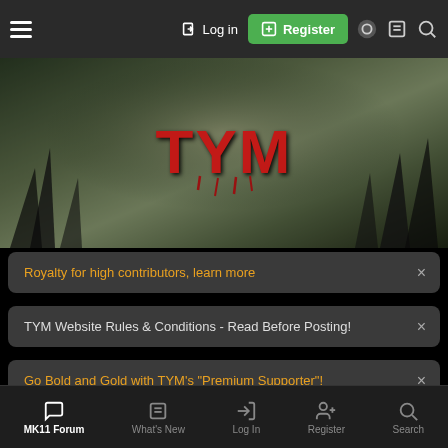Log in | Register
[Figure (screenshot): TYM (TestYourMight) forum website hero banner with stylized red logo on dark misty background]
Royalty for high contributors, learn more
TYM Website Rules & Conditions - Read Before Posting!
Go Bold and Gold with TYM's "Premium Supporter"!
Forums > Games > Fighting Game Series > Mortal Kombat > Mortal Kor...
[Figure (screenshot): Social media icons: YouTube, Facebook, Twitter]
MK11 Forum | What's New | Log In | Register | Search